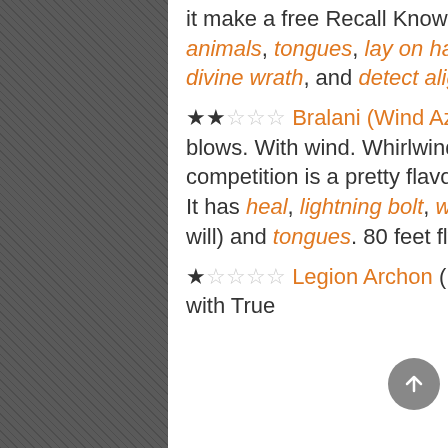it make a free Recall Knowledge check each turn. Can cast speak with animals, tongues, lay on hands, calm emotions, remove disease, divine wrath, and detect alignment.
★★☆☆☆ Bralani (Wind Azata) (B2) — Mediocre Niche Spellcaster. It blows. With wind. Whirlwind blast isn't bad, but also isn't great. Fair competition is a pretty flavorful use of this summon and a unique effect. It has heal, lightning bolt, wall of wind, calm emotions, gust of wind (at will) and tongues. 80 feet fly is really fast!
★☆☆☆☆ Legion Archon (B1) — Poor Striker. It does damage (and with True